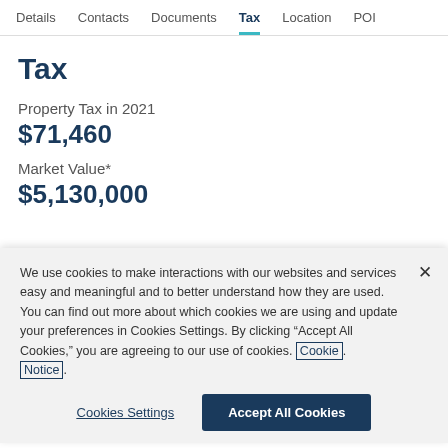Details  Contacts  Documents  Tax  Location  POI
Tax
Property Tax in 2021
$71,460
Market Value*
$5,130,000
We use cookies to make interactions with our websites and services easy and meaningful and to better understand how they are used. You can find out more about which cookies we are using and update your preferences in Cookies Settings. By clicking “Accept All Cookies,” you are agreeing to our use of cookies. Cookie Notice.
Cookies Settings
Accept All Cookies